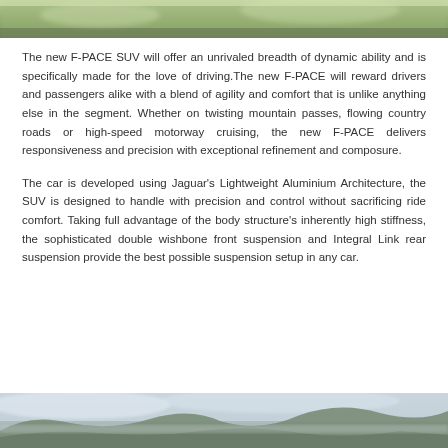[Figure (photo): Top portion of an outdoor landscape/road photo showing greenery, blurred background, taken from a moving vehicle perspective]
The new F-PACE SUV will offer an unrivaled breadth of dynamic ability and is specifically made for the love of driving.The new F-PACE will reward drivers and passengers alike with a blend of agility and comfort that is unlike anything else in the segment. Whether on twisting mountain passes, flowing country roads or high-speed motorway cruising, the new F-PACE delivers responsiveness and precision with exceptional refinement and composure.
The car is developed using Jaguar's Lightweight Aluminium Architecture, the SUV is designed to handle with precision and control without sacrificing ride comfort. Taking full advantage of the body structure's inherently high stiffness, the sophisticated double wishbone front suspension and Integral Link rear suspension provide the best possible suspension setup in any car.
[Figure (photo): Bottom landscape photo showing misty mountains and cloudy sky, outdoor scenic view]